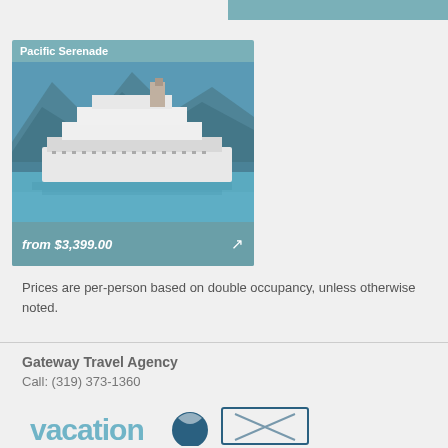[Figure (photo): Cruise ship Pacific Serenade on blue water with mountains in background, from $3,399.00]
Pacific Serenade
from $3,399.00
Prices are per-person based on double occupancy, unless otherwise noted.
Gateway Travel Agency
Call: (319) 373-1360
Email: JIM@GATEWAYTRAVELAGENTS.COM or KRIS@GATEWAYTRAVELAGENTS.COM
[Figure (logo): vacation and travel agency logos at bottom]